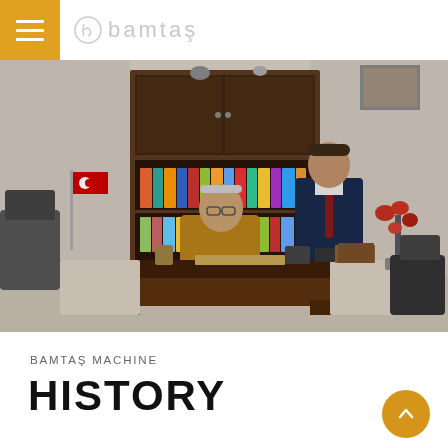BAMTAS logo with hamburger menu
[Figure (photo): Office scene with two men — an older man seated at a large dark wood executive desk with various desk items including a nameplate, pen holders, and small decorative items; and a younger man in a dark suit with a red tie standing behind. Behind them is a large bookcase filled with colorful binders and folders. Red flowers in a vase are on the right side of the desk. A Turkish flag is visible on the left. The office has a beige/cream color scheme.]
BAMTAŞ MACHINE
HISTORY